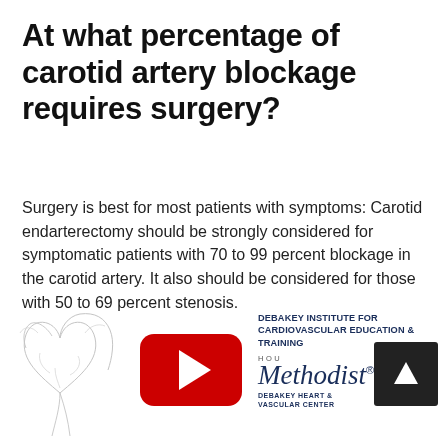At what percentage of carotid artery blockage requires surgery?
Surgery is best for most patients with symptoms: Carotid endarterectomy should be strongly considered for symptomatic patients with 70 to 99 percent blockage in the carotid artery. It also should be considered for those with 50 to 69 percent stenosis.
[Figure (illustration): Medical illustration showing a sketch of a human heart with vessels, overlaid with a YouTube play button (red rounded rectangle with white triangle) and the DeBakey Institute for Cardiovascular Education & Training logo, Houston Methodist DeBakey Heart & Vascular Center logo, and a dark navigation arrow button in the bottom right.]